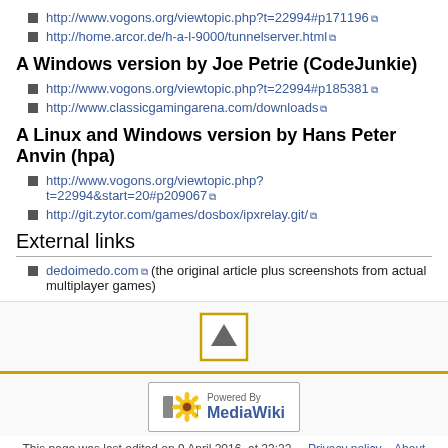http://www.vogons.org/viewtopic.php?t=22994#p171196
http://home.arcor.de/h-a-l-9000/tunnelserver.html
A Windows version by Joe Petrie (CodeJunkie)
http://www.vogons.org/viewtopic.php?t=22994#p185381
http://www.classicgamingarena.com/downloads
A Linux and Windows version by Hans Peter Anvin (hpa)
http://www.vogons.org/viewtopic.php?t=22994&start=20#p209067
http://git.zytor.com/games/dosbox/ipxrelay.git/
External links
dedoimedo.com (the original article plus screenshots from actual multiplayer games)
[Figure (other): Scroll to top button with upward triangle arrow, gold border]
[Figure (logo): Powered by MediaWiki badge with sunflower logo]
This page was last edited on 9 April 2016, at 23:22.   Privacy policy   About   DOSBoxWiki   Disclaimers